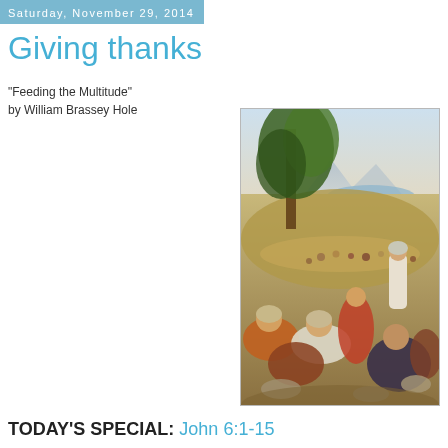Saturday, November 29, 2014
Giving thanks
"Feeding the Multitude"
by William Brassey Hole
[Figure (illustration): Painting of the feeding of the multitude scene. Jesus in white robes stands on the right addressing a crowd of people sitting and standing on a grassy hillside. A large tree is in the left-center background with a lake and mountains visible in the distance.]
TODAY'S SPECIAL: John 6:1-15